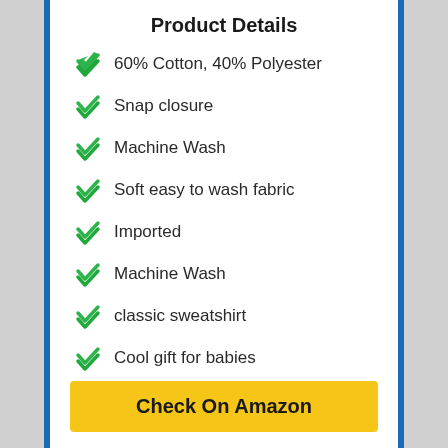Product Details
60% Cotton, 40% Polyester
Snap closure
Machine Wash
Soft easy to wash fabric
Imported
Machine Wash
classic sweatshirt
Cool gift for babies
Check On Amazon